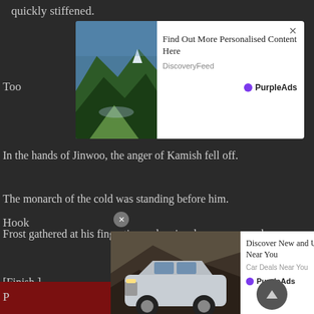quickly stiffened.
[Figure (screenshot): Advertisement overlay: landscape mountain/valley image with ad text 'Find Out More Personalised Content Here' from DiscoveryFeed, branded PurpleAds with close button X]
Too
In the hands of Jinwoo, the anger of Kamish fell off.
The monarch of the cold was standing before him.
Frost gathered at his fingertips and an ice dagger was made.
[Finish.]
The ice dagger penetrated the abdomen of Jinwoo.
Hook
[Figure (screenshot): Advertisement overlay at bottom: SUV car image with ad text 'Discover New and Used Car Deals Near You' from Car Deals Near You, branded PurpleAds]
P